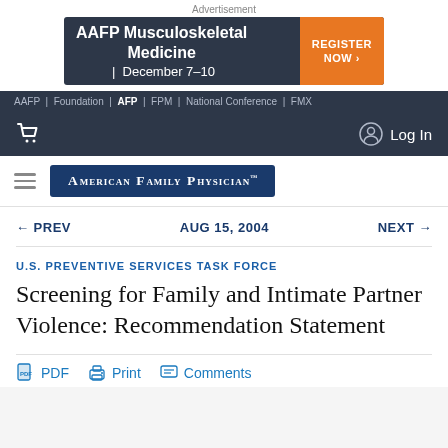Advertisement
[Figure (other): AAFP Musculoskeletal Medicine | December 7-10 advertisement banner with orange Register Now button]
AAFP | Foundation | AFP | FPM | National Conference | FMX
Log In
[Figure (logo): American Family Physician logo in dark blue rectangular banner]
← PREV   AUG 15, 2004   NEXT →
U.S. PREVENTIVE SERVICES TASK FORCE
Screening for Family and Intimate Partner Violence: Recommendation Statement
PDF   Print   Comments